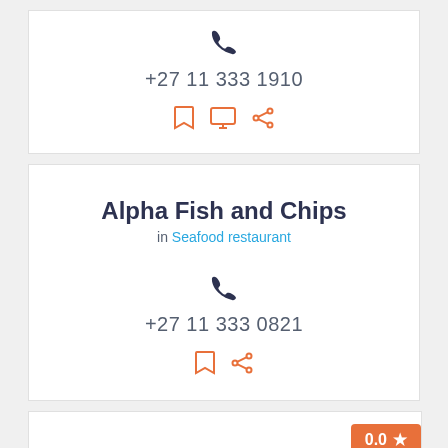+27 11 333 1910
[Figure (infographic): Icon row with bookmark, monitor, and share icons in orange]
Alpha Fish and Chips
in Seafood restaurant
+27 11 333 0821
[Figure (infographic): Icon row with bookmark and share icons in orange]
[Figure (infographic): Rating badge showing 0.0 with star icon in orange]